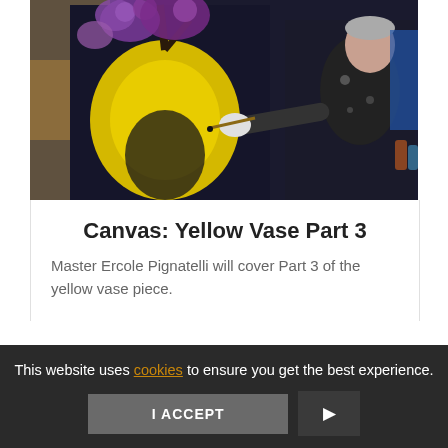[Figure (photo): An elderly male artist painting a large canvas featuring a yellow vase with purple flowers/grapes on a dark background. The artist is wearing a paint-stained dark outfit and white gloves, holding a paintbrush.]
Canvas: Yellow Vase Part 3
Master Ercole Pignatelli will cover Part 3 of the yellow vase piece.
This website uses cookies to ensure you get the best experience.
I ACCEPT